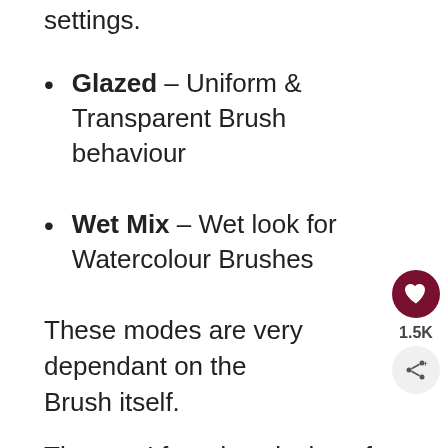settings.
Glazed – Uniform & Transparent Brush behaviour
Wet Mix – Wet look for Watercolour Brushes
These modes are very dependant on the Brush itself.
The one I found works best for my kind of